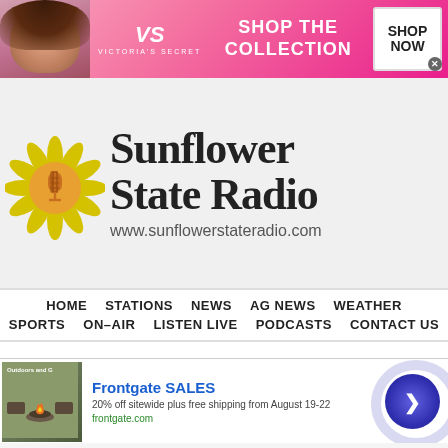[Figure (other): Victoria's Secret advertisement banner with model photo, VS logo, 'SHOP THE COLLECTION' text, and 'SHOP NOW' button]
[Figure (logo): Sunflower State Radio logo with sunflower icon and text 'Sunflower State Radio' and URL www.sunflowerstateradio.com]
HOME   STATIONS   NEWS   AG NEWS   WEATHER   SPORTS   ON-AIR   LISTEN LIVE   PODCASTS   CONTACT US
[Figure (other): Frontgate SALES advertisement: '20% off sitewide plus free shipping from August 19-22' with image of outdoor fire pit furniture and frontgate.com link]